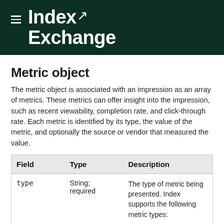Index Exchange
Metric object
The metric object is associated with an impression as an array of metrics. These metrics can offer insight into the impression, such as recent viewability, completion rate, and click-through rate. Each metric is identified by its type, the value of the metric, and optionally the source or vendor that measured the value.
| Field | Type | Description |
| --- | --- | --- |
| type | String; required | The type of metric being presented. Index supports the following metric types: • click_through_rate |